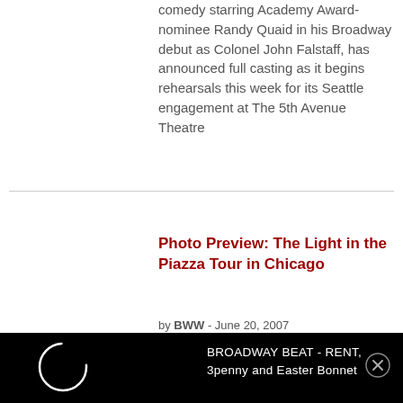comedy starring Academy Award-nominee Randy Quaid in his Broadway debut as Colonel John Falstaff, has announced full casting as it begins rehearsals this week for its Seattle engagement at The 5th Avenue Theatre
Photo Preview: The Light in the Piazza Tour in Chicago
by BWW - June 20, 2007
[Figure (other): Black advertisement bar with a loading spinner circle on the left and text 'BROADWAY BEAT - RENT, 3penny and Easter Bonnet' in the center, with a close button (X) on the right]